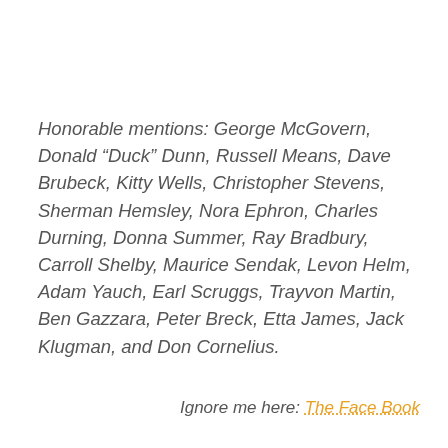Honorable mentions: George McGovern, Donald “Duck” Dunn, Russell Means, Dave Brubeck, Kitty Wells, Christopher Stevens, Sherman Hemsley, Nora Ephron, Charles Durning, Donna Summer, Ray Bradbury, Carroll Shelby, Maurice Sendak, Levon Helm, Adam Yauch, Earl Scruggs, Trayvon Martin, Ben Gazzara, Peter Breck, Etta James, Jack Klugman, and Don Cornelius.
Ignore me here: The Face Book